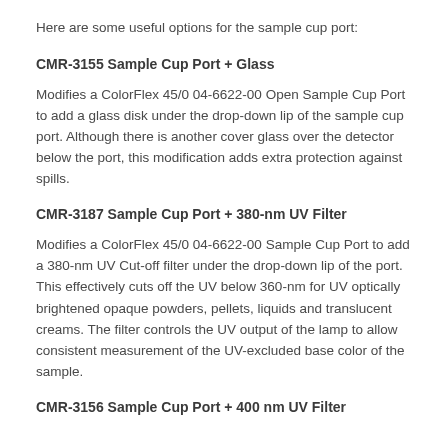Here are some useful options for the sample cup port:
CMR-3155 Sample Cup Port + Glass
Modifies a ColorFlex 45/0 04-6622-00 Open Sample Cup Port to add a glass disk under the drop-down lip of the sample cup port. Although there is another cover glass over the detector below the port, this modification adds extra protection against spills.
CMR-3187 Sample Cup Port + 380-nm UV Filter
Modifies a ColorFlex 45/0 04-6622-00 Sample Cup Port to add a 380-nm UV Cut-off filter under the drop-down lip of the port. This effectively cuts off the UV below 360-nm for UV optically brightened opaque powders, pellets, liquids and translucent creams. The filter controls the UV output of the lamp to allow consistent measurement of the UV-excluded base color of the sample.
CMR-3156 Sample Cup Port + 400 nm UV Filter